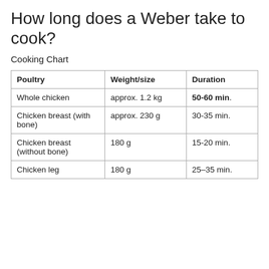How long does a Weber take to cook?
Cooking Chart
| Poultry | Weight/size | Duration |
| --- | --- | --- |
| Whole chicken | approx. 1.2 kg | 50-60 min. |
| Chicken breast (with bone) | approx. 230 g | 30-35 min. |
| Chicken breast (without bone) | 180 g | 15-20 min. |
| Chicken leg | 180 g | 25–35 min. |